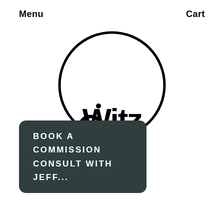Menu   Cart
[Figure (logo): OWitz logo: a circle outline with the word 'Witz' in bold black lettering and a key icon at the bottom left of the circle, forming the 'OWitz' brand logo]
BOOK A COMMISSION CONSULT WITH JEFF...